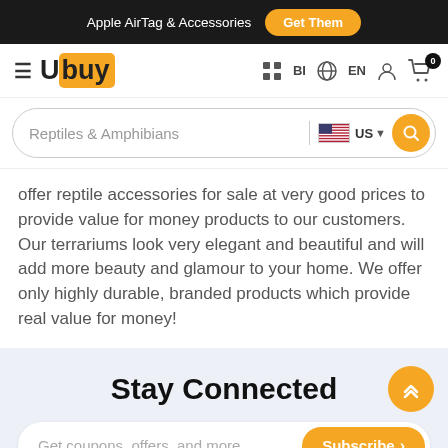Apple AirTag & Accessories  Get Them
Ubuy  BI  EN  0
Reptiles & Amphibians  US
offer reptile accessories for sale at very good prices to provide value for money products to our customers. Our terrariums look very elegant and beautiful and will add more beauty and glamour to your home. We offer only highly durable, branded products which provide real value for money!
Stay Connected
Get coupons, offers, and more  Subscribe >